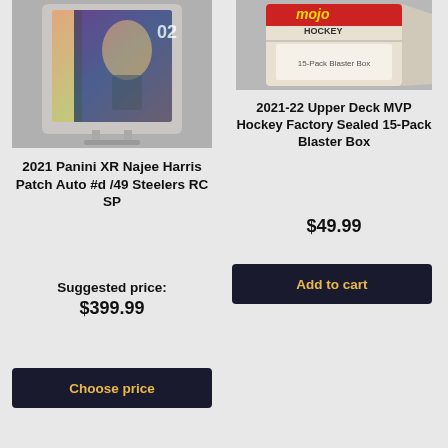[Figure (photo): Trading card - 2021 Panini XR Najee Harris Patch Auto in hard case display stand]
2021 Panini XR Najee Harris Patch Auto #d /49 Steelers RC SP
Suggested price:
$399.99
Choose price
[Figure (photo): 2021-22 Upper Deck MVP Hockey Factory Sealed 15-Pack Blaster Box product image]
2021-22 Upper Deck MVP Hockey Factory Sealed 15-Pack Blaster Box
$49.99
Add to cart